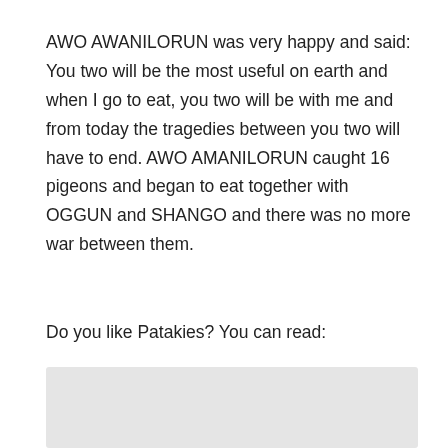AWO AWANILORUN was very happy and said: You two will be the most useful on earth and when I go to eat, you two will be with me and from today the tragedies between you two will have to end. AWO AMANILORUN caught 16 pigeons and began to eat together with OGGUN and SHANGO and there was no more war between them.
Do you like Patakies? You can read:
[Figure (other): Light gray rectangular placeholder box]